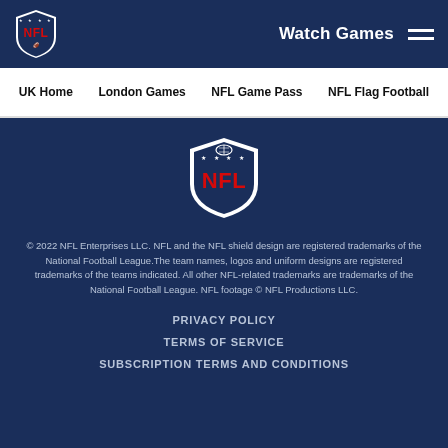Watch Games
UK Home  London Games  NFL Game Pass  NFL Flag Football
[Figure (logo): NFL shield logo centered in footer area]
© 2022 NFL Enterprises LLC. NFL and the NFL shield design are registered trademarks of the National Football League.The team names, logos and uniform designs are registered trademarks of the teams indicated. All other NFL-related trademarks are trademarks of the National Football League. NFL footage © NFL Productions LLC.
PRIVACY POLICY
TERMS OF SERVICE
SUBSCRIPTION TERMS AND CONDITIONS